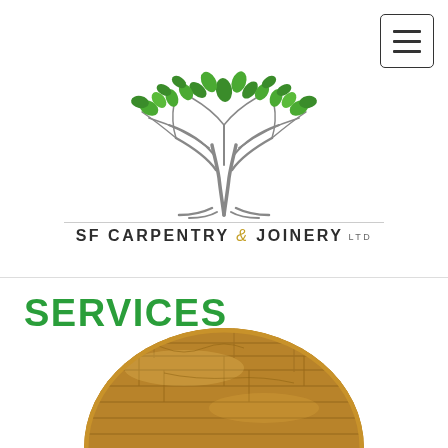[Figure (logo): SF Carpentry & Joinery Ltd logo: a stylized tree with green leaves and grey branches above the company name in uppercase letters]
[Figure (illustration): Multiple groups of acorns scattered in a decorative pattern across the page, arranged in rows]
SERVICES
[Figure (photo): Circular/oval cropped photo of wooden flooring planks, partially visible at the bottom of the page]